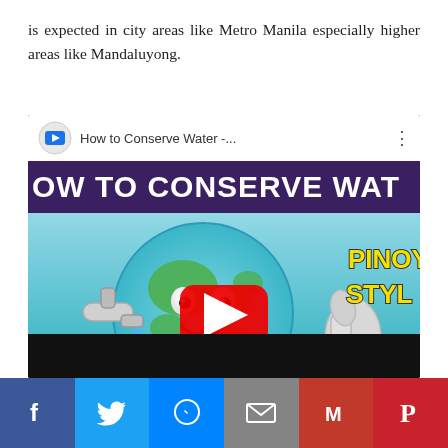is expected in city areas like Metro Manila especially higher areas like Mandaluyong.
[Figure (screenshot): Embedded YouTube video thumbnail showing 'How to Conserve Water' video with a cartoon globe character and text 'HOW TO CONSERVE WAT... PINOY STYL...' with a red play button in the center.]
[Figure (other): Social media share bar with buttons for Facebook, Twitter, Messenger, Email, Gmail, and Pinterest.]